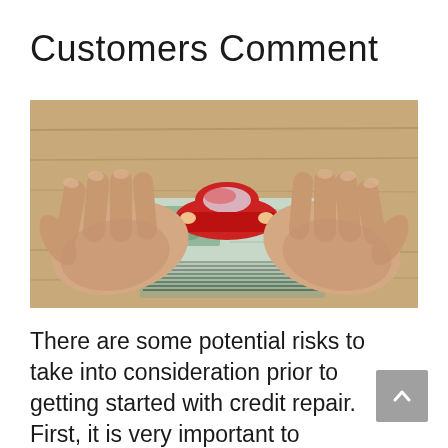Customers Comment
[Figure (photo): Hands holding a stack of US dollar bills with a small red toy car placed on top, photographed from above on a wooden surface background.]
There are some potential risks to take into consideration prior to getting started with credit repair. First, it is very important to understand that credit repair is not a fast or